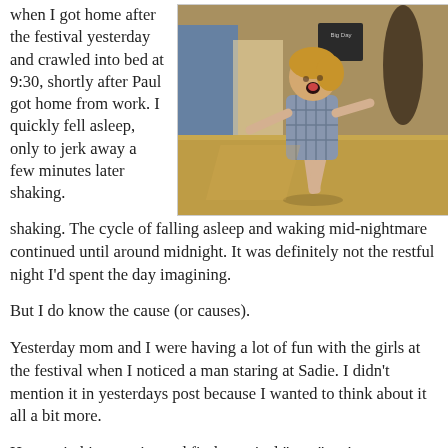I was exhausted when I got home after the festival yesterday and crawled into bed at 9:30, shortly after Paul got home from work. I quickly fell asleep, only to jerk away a few minutes later shaking. The cycle of falling asleep and waking mid-nightmare continued until around midnight. It was definitely not the restful night I'd spent the day imagining.
[Figure (photo): A young girl in a plaid dress running joyfully outdoors at a festival, with her arms outstretched and mouth open in excitement. Background shows festival grounds with straw/hay on the ground and a chalkboard sign.]
But I do know the cause (or causes).
Yesterday mom and I were having a lot of fun with the girls at the festival when I noticed a man staring at Sadie. I didn't mention it in yesterdays post because I wanted to think about it all a bit more.
He was in his twenties and fit the typical "type" we've seen...